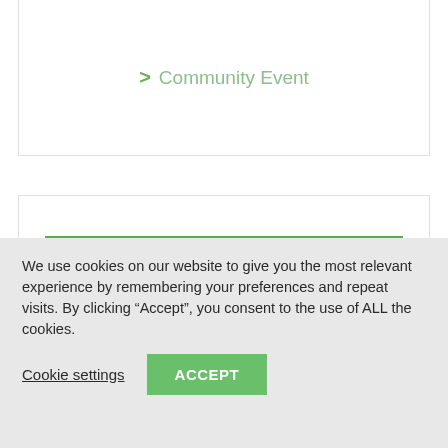> Community Event
+ Add to Google Calendar
+ iCal / Outlook export
We use cookies on our website to give you the most relevant experience by remembering your preferences and repeat visits. By clicking “Accept”, you consent to the use of ALL the cookies.
Cookie settings
ACCEPT